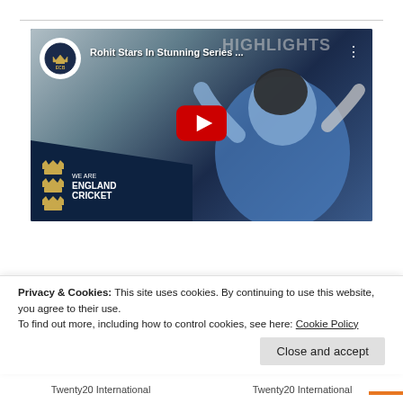[Figure (screenshot): YouTube video thumbnail for 'Rohit Stars In Stunning Series...' by ECB (England and Wales Cricket Board). Shows a cricket player in India blue jersey batting, with YouTube play button overlay, HIGHLIGHTS watermark, and 'We Are England Cricket' branding in bottom-left.]
Privacy & Cookies: This site uses cookies. By continuing to use this website, you agree to their use.
To find out more, including how to control cookies, see here: Cookie Policy
Close and accept
Twenty20 International
Twenty20 International